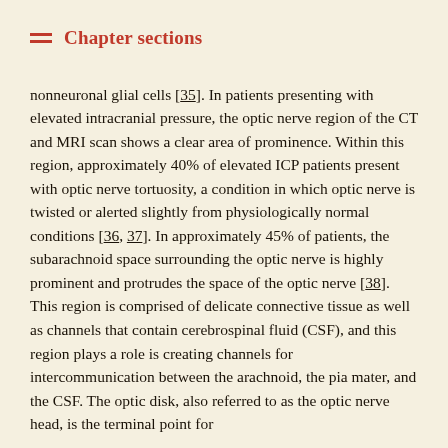Chapter sections
nonneuronal glial cells [35]. In patients presenting with elevated intracranial pressure, the optic nerve region of the CT and MRI scan shows a clear area of prominence. Within this region, approximately 40% of elevated ICP patients present with optic nerve tortuosity, a condition in which optic nerve is twisted or alerted slightly from physiologically normal conditions [36, 37]. In approximately 45% of patients, the subarachnoid space surrounding the optic nerve is highly prominent and protrudes the space of the optic nerve [38]. This region is comprised of delicate connective tissue as well as channels that contain cerebrospinal fluid (CSF), and this region plays a role is creating channels for intercommunication between the arachnoid, the pia mater, and the CSF. The optic disk, also referred to as the optic nerve head, is the terminal point for